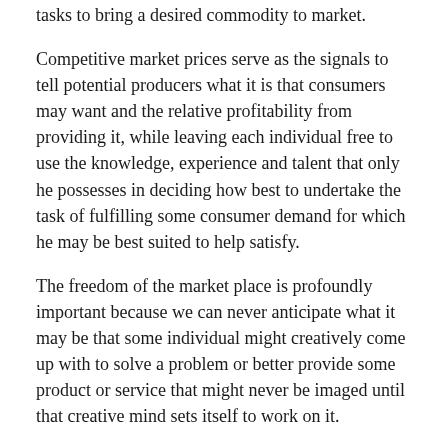tasks to bring a desired commodity to market.
Competitive market prices serve as the signals to tell potential producers what it is that consumers may want and the relative profitability from providing it, while leaving each individual free to use the knowledge, experience and talent that only he possesses in deciding how best to undertake the task of fulfilling some consumer demand for which he may be best suited to help satisfy.
The freedom of the market place is profoundly important because we can never anticipate what it may be that some individual might creatively come up with to solve a problem or better provide some product or service that might never be imaged until that creative mind sets itself to work on it.
Freedom is Important Because of What We Don't Know
As the free market Austrian economist and Nobel Prize winner, F.A. Hayek, pointed out in his book, The Constitution of Liberty